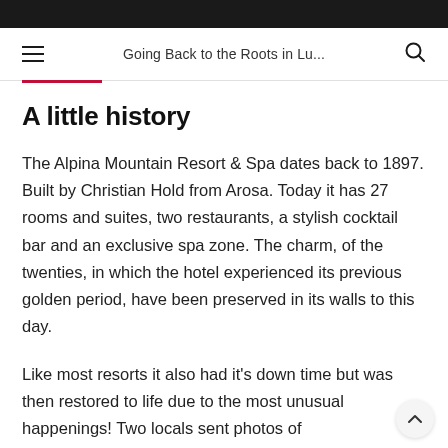Going Back to the Roots in Lu...
A little history
The Alpina Mountain Resort & Spa dates back to 1897. Built by Christian Hold from Arosa. Today it has 27 rooms and suites, two restaurants, a stylish cocktail bar and an exclusive spa zone. The charm, of the twenties, in which the hotel experienced its previous golden period, have been preserved in its walls to this day.
Like most resorts it also had it's down time but was then restored to life due to the most unusual happenings! Two locals sent photos of